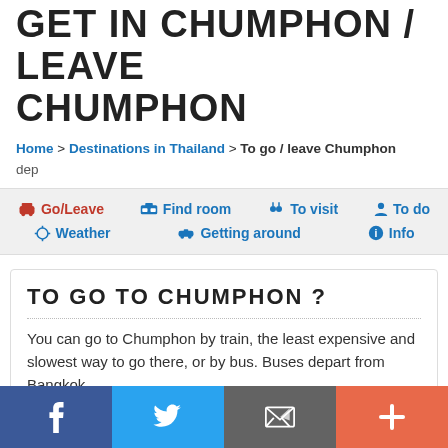GET IN CHUMPHON / LEAVE CHUMPHON
Home > Destinations in Thailand > To go / leave Chumphon dep
Go/Leave  Find room  To visit  To do  Weather  Getting around  Info
TO GO TO CHUMPHON ?
You can go to Chumphon by train, the least expensive and slowest way to go there, or by bus. Buses depart from Bangkok